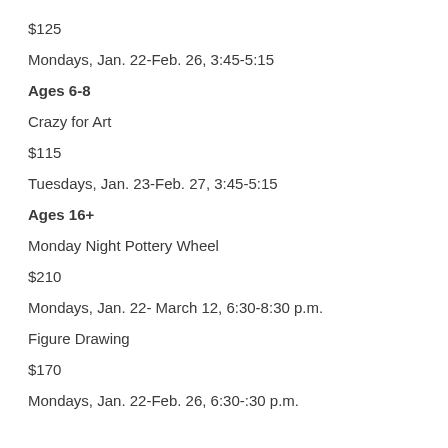$125
Mondays, Jan. 22-Feb. 26, 3:45-5:15
Ages 6-8
Crazy for Art
$115
Tuesdays, Jan. 23-Feb. 27, 3:45-5:15
Ages 16+
Monday Night Pottery Wheel
$210
Mondays, Jan. 22- March 12, 6:30-8:30 p.m.
Figure Drawing
$170
Mondays, Jan. 22-Feb. 26, 6:30-:30 p.m.